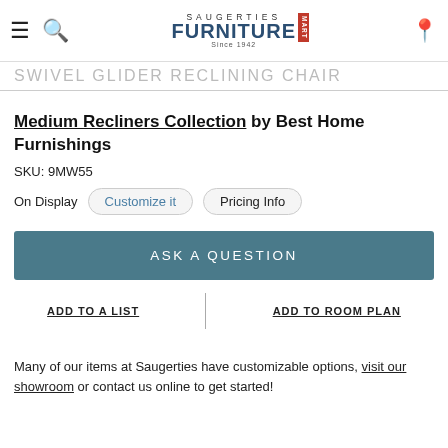Saugerties Furniture Mart — SWIVEL GLIDER RECLINING CHAIR
Medium Recliners Collection by Best Home Furnishings
SKU: 9MW55
On Display   Customize it   Pricing Info
ASK A QUESTION
ADD TO A LIST   ADD TO ROOM PLAN
Many of our items at Saugerties have customizable options, visit our showroom or contact us online to get started!